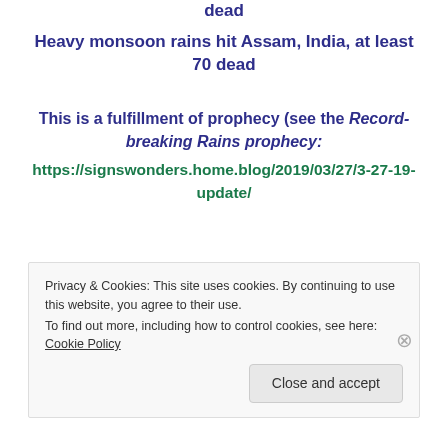Heavy monsoon rains hit Assam, India, at least 70 dead
This is a fulfillment of prophecy (see the Record-breaking Rains prophecy: https://signswonders.home.blog/2019/03/27/3-27-19-update/)
Privacy & Cookies: This site uses cookies. By continuing to use this website, you agree to their use.
To find out more, including how to control cookies, see here: Cookie Policy